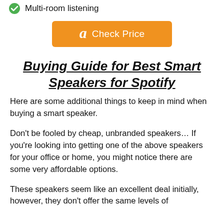Multi-room listening
[Figure (other): Amazon Check Price button with orange background and Amazon logo]
Buying Guide for Best Smart Speakers for Spotify
Here are some additional things to keep in mind when buying a smart speaker.
Don't be fooled by cheap, unbranded speakers… If you're looking into getting one of the above speakers for your office or home, you might notice there are some very affordable options.
These speakers seem like an excellent deal initially, however, they don't offer the same levels of